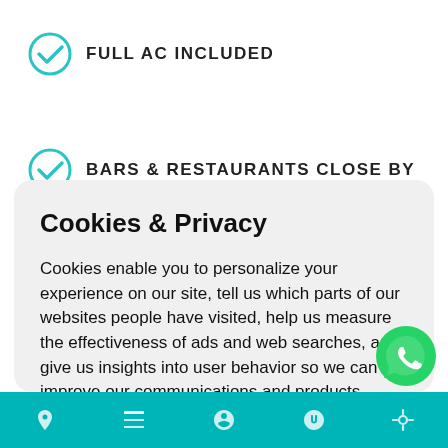FULL AC INCLUDED
BARS & RESTAURANTS CLOSE BY
Cookies & Privacy
Cookies enable you to personalize your experience on our site, tell us which parts of our websites people have visited, help us measure the effectiveness of ads and web searches, and give us insights into user behavior so we can improve our communications and products. More information
Accept Cookies
Customise Cookies